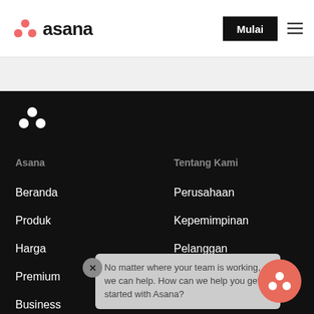Asana — Mulai
[Figure (logo): Asana logo with three coral dots and 'asana' wordmark in dark text]
[Figure (logo): Asana white three-dot logo in footer dark section]
Asana
Tentang Kami
Beranda
Produk
Harga
Premium
Business
Perusahaan
Kepemimpinan
Pelanggan
Keragaman
Karir
No matter where your team is working, we can help. How can we help you get started with Asana?